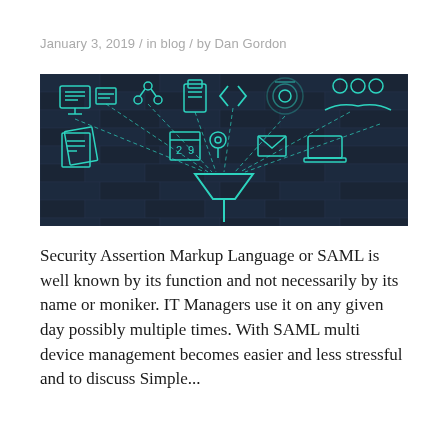January 3, 2019 / in blog / by Dan Gordon
[Figure (illustration): Dark blue/teal themed illustration showing various technology and data icons (monitor, share icon, USB, code brackets, wifi, user group, envelopes, laptop, documents, calendar) connected by dashed lines feeding into a funnel at the bottom center, all drawn in teal/cyan outline style on a dark brick-wall background.]
Security Assertion Markup Language or SAML is well known by its function and not necessarily by its name or moniker. IT Managers use it on any given day possibly multiple times. With SAML multi device management becomes easier and less stressful and to discuss Simple...